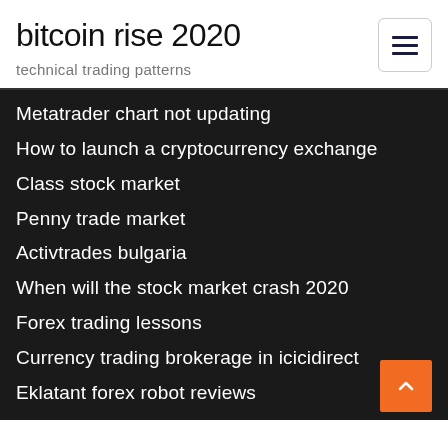bitcoin rise 2020
technical trading patterns
Metatrader chart not updating
How to launch a cryptocurrency exchange
Class stock market
Penny trade market
Activtrades bulgaria
When will the stock market crash 2020
Forex trading lessons
Currency trading brokerage in icicidirect
Eklatant forex robot reviews
Best aussie stocks